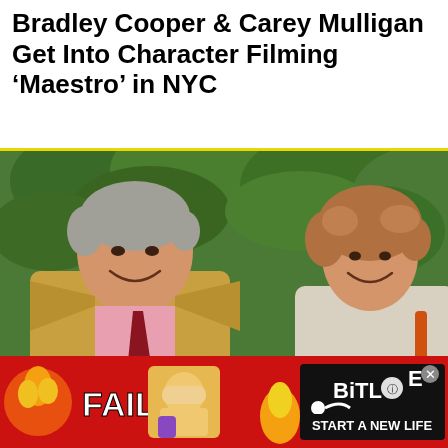Bradley Cooper & Carey Mulligan Get Into Character Filming ‘Maestro’ in NYC
[Figure (photo): Two people smiling and facing each other outdoors. The man on the left has grey hair, wearing a tan blazer, pink shirt and dark red tie. The woman on the right has curly brown hair and a light-coloured top. Green leafy background.]
[Figure (infographic): Advertisement banner for BitLife mobile game with 'FAIL' text, emoji facepalm, fire graphics, and 'START A NEW LIFE' text on black background. BitLife logo in top right with close button.]